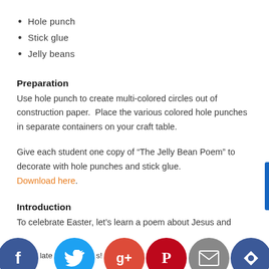Hole punch
Stick glue
Jelly beans
Preparation
Use hole punch to create multi-colored circles out of construction paper.  Place the various colored hole punches in separate containers on your craft table.
Give each student one copy of “The Jelly Bean Poem” to decorate with hole punches and stick glue. Download here.
Introduction
To celebrate Easter, let’s learn a poem about Jesus and decorate it with lots of colors! Color is appropriate because… the poem is about jelly beans and how they relate…s!